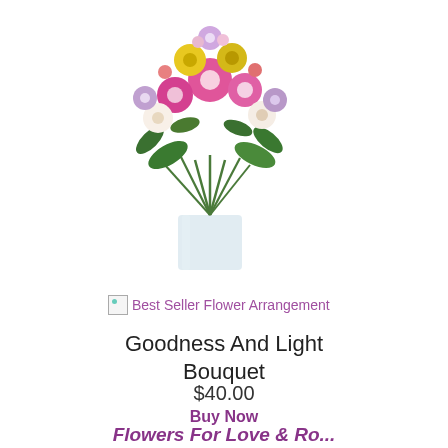[Figure (photo): Colorful flower bouquet arrangement in a glass vase with pink, yellow, white and purple flowers and green foliage]
[Figure (illustration): Best Seller Flower Arrangement badge icon (broken image placeholder)]
Best Seller Flower Arrangement
Goodness And Light Bouquet
$40.00
Buy Now
SHOP ALL JUST BECAUSE FLOWERS
Flowers For Love & Ro...